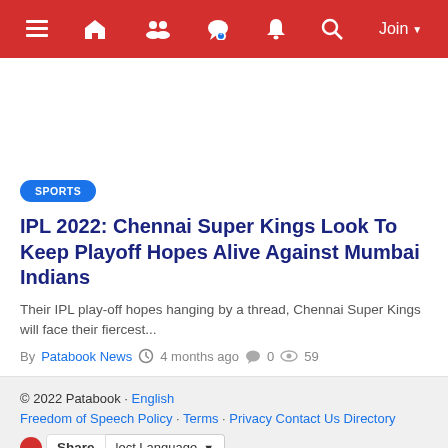Navigation bar with menu, home, people, chat, bell, search, Join
[Figure (screenshot): White advertisement/image placeholder space]
SPORTS
IPL 2022: Chennai Super Kings Look To Keep Playoff Hopes Alive Against Mumbai Indians
Their IPL play-off hopes hanging by a thread, Chennai Super Kings will face their fiercest...
By Patabook News  4 months ago  0  59
© 2022 Patabook · English
Freedom of Speech Policy · Terms · Privacy Contact Us Directory
Share  Select Language ▼